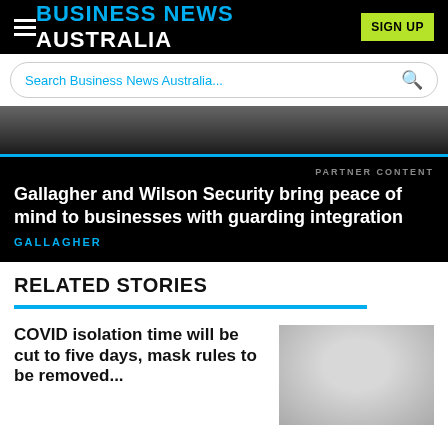Business News Australia
Search Business News Australia...
[Figure (photo): Dark blurred background image behind article card]
PARTNER CONTENT
Gallagher and Wilson Security bring peace of mind to businesses with guarding integration
GALLAGHER
RELATED STORIES
COVID isolation time will be cut to five days, mask rules to be removed...
[Figure (photo): Blurred thumbnail image for COVID isolation story]